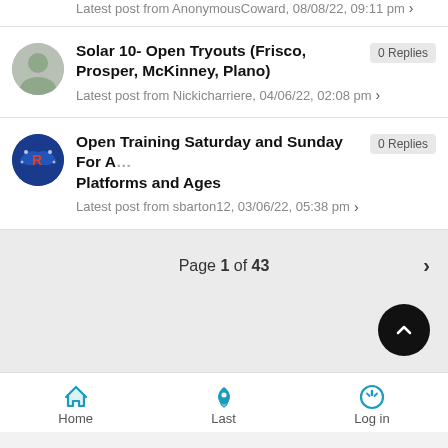Latest post from AnonymousCoward, 08/08/22, 09:11 pm >
Solar 10- Open Tryouts (Frisco, Prosper, McKinney, Plano) — 0 Replies — Latest post from Nickicharriere, 04/06/22, 02:08 pm >
Open Training Saturday and Sunday For All Platforms and Ages — 0 Replies — Latest post from sbarton12, 03/06/22, 05:38 pm >
Page 1 of 43 >
Home  Last  Log in